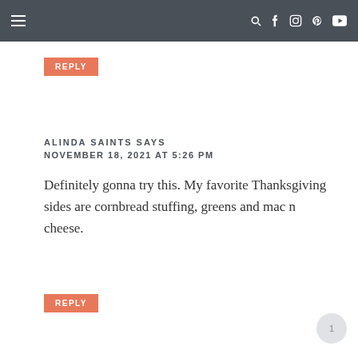Navigation bar with hamburger menu and social icons
REPLY
ALINDA SAINTS SAYS
NOVEMBER 18, 2021 AT 5:26 PM
Definitely gonna try this. My favorite Thanksgiving sides are cornbread stuffing, greens and mac n cheese.
REPLY